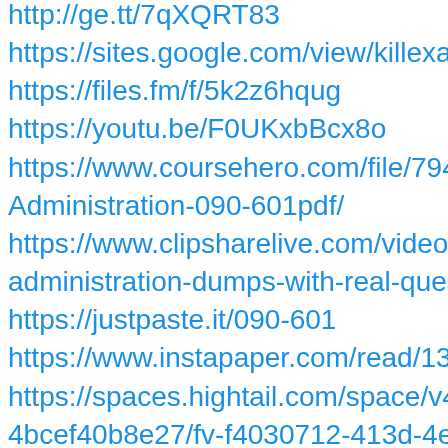http://ge.tt/7qXQRT83
https://sites.google.com/view/killexams-0…
https://files.fm/f/5k2z6hqug
https://youtu.be/F0UKxbBcx8o
https://www.coursehero.com/file/7941322… Administration-090-601pdf/
https://www.clipsharelive.com/video/5938… administration-dumps-with-real-questions…
https://justpaste.it/090-601
https://www.instapaper.com/read/139601…
https://spaces.hightail.com/space/v47qz1… 4bcef40b8e27/fv-f4030712-413d-4e03-9…